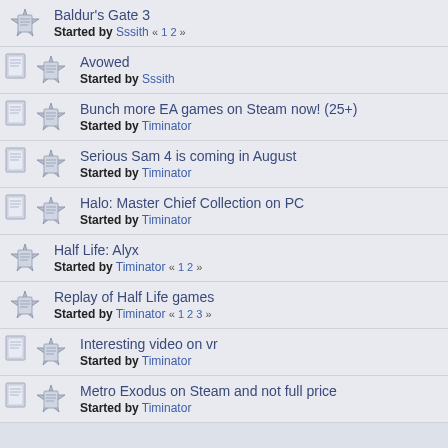Baldur's Gate 3
Started by Sssith « 1 2 »
Avowed
Started by Sssith
Bunch more EA games on Steam now! (25+)
Started by Timinator
Serious Sam 4 is coming in August
Started by Timinator
Halo: Master Chief Collection on PC
Started by Timinator
Half Life: Alyx
Started by Timinator « 1 2 »
Replay of Half Life games
Started by Timinator « 1 2 3 »
Interesting video on vr
Started by Timinator
Metro Exodus on Steam and not full price
Started by Timinator